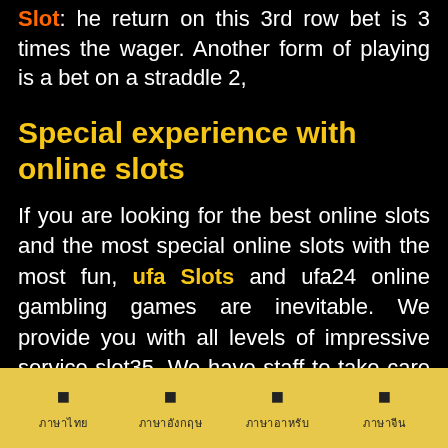Slot: he return on this 3rd row bet is 3 times the wager. Another form of playing is a bet on a straddle 2,
Special experience with online slots
If you are looking for the best online slots and the most special online slots with the most fun, ufa Slots and ufa24 online gambling games are inevitable. We provide you with all levels of impressive service slot35. We have staff to take care of you all the time. 24 hours to support and take care of customers that
□ □ □ □ | ภาษาไทย ภาษาอังกฤษ ภาษาอาหรับ ภาษาจีน